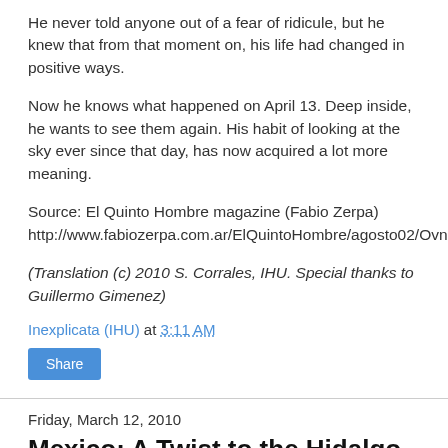He never told anyone out of a fear of ridicule, but he knew that from that moment on, his life had changed in positive ways.
Now he knows what happened on April 13. Deep inside, he wants to see them again. His habit of looking at the sky ever since that day, has now acquired a lot more meaning.
Source: El Quinto Hombre magazine (Fabio Zerpa) http://www.fabiozerpa.com.ar/ElQuintoHombre/agosto02/Ovnilogia_18.asp
(Translation (c) 2010 S. Corrales, IHU. Special thanks to Guillermo Gimenez)
Inexplicata (IHU) at 3:11 AM
Share
Friday, March 12, 2010
Mexico: A Twist to the Hidalgo Mystery